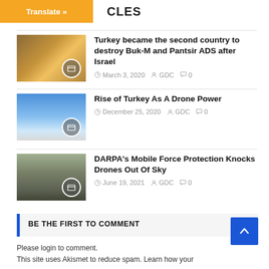Translate » ARTICLES
Turkey became the second country to destroy Buk-M and Pantsir ADS after Israel | March 3, 2020 | GDC | 0
Rise of Turkey As A Drone Power | December 25, 2020 | GDC | 0
DARPA's Mobile Force Protection Knocks Drones Out Of Sky | June 19, 2021 | GDC | 0
BE THE FIRST TO COMMENT
Please login to comment.
This site uses Akismet to reduce spam. Learn how your